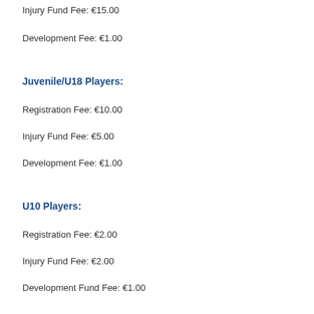Injury Fund Fee: €15.00
Development Fee: €1.00
Juvenile/U18 Players:
Registration Fee: €10.00
Injury Fund Fee: €5.00
Development Fee: €1.00
U10 Players:
Registration Fee: €2.00
Injury Fund Fee: €2.00
Development Fund Fee: €1.00
Development Fee shall be used for development and subsidies as approved by Central Council.